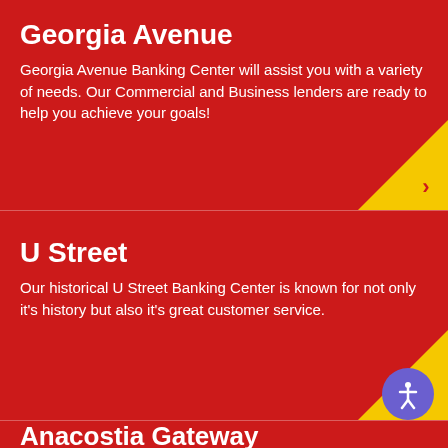Georgia Avenue
Georgia Avenue Banking Center will assist you with a variety of needs. Our Commercial and Business lenders are ready to help you achieve your goals!
U Street
Our historical U Street Banking Center is known for not only it's history but also it's great customer service.
Anacostia Gateway